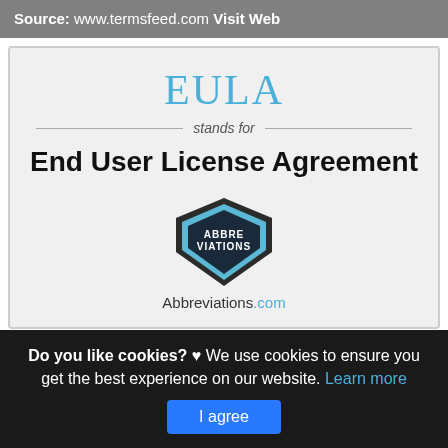Source: www.termsfeed.com Visit Web
[Figure (infographic): Infographic showing EULA stands for End User License Agreement, with Abbreviations.com logo badge at center.]
EULA End User License Agreement
This is actually a short article or even picture approximately
Do you like cookies? ♥ We use cookies to ensure you get the best experience on our website. Learn more
I agree